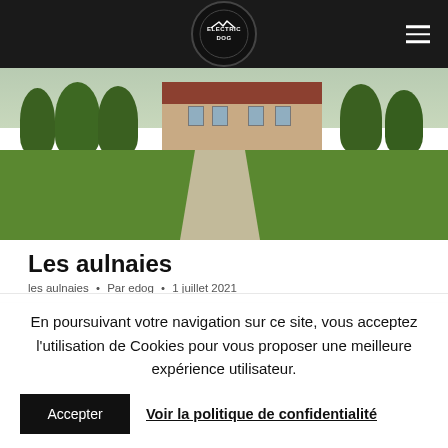Electric Dog — navigation bar with logo and hamburger menu
[Figure (photo): Outdoor landscape photo of a French country estate with a gravel driveway, green lawn, trees, and a stone manor house in the background]
Les aulnaies
les aulnaies • Par edog • 1 juillet 2021
En poursuivant votre navigation sur ce site, vous acceptez l'utilisation de Cookies pour vous proposer une meilleure expérience utilisateur.
Accepter
Voir la politique de confidentialité